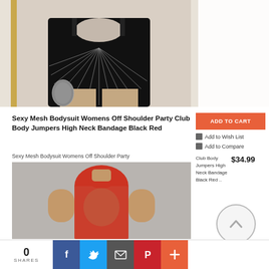[Figure (photo): Woman wearing black rhinestone/crystal embellished cut-out mini dress holding a glittery bag, against a light background with gold door frame visible]
Sexy Mesh Bodysuit Womens Off Shoulder Party Club Body Jumpers High Neck Bandage Black Red
Sexy Mesh Bodysuit Womens Off Shoulder Party
ADD TO CART
Add to Wish List
Add to Compare
Club Body Jumpers High Neck Bandage Black Red ..
$34.99
[Figure (photo): Woman wearing a sheer red high-neck sleeveless mesh bodysuit, shown from front torso up]
0
SHARES
f
Twitter
Email
Pinterest
+